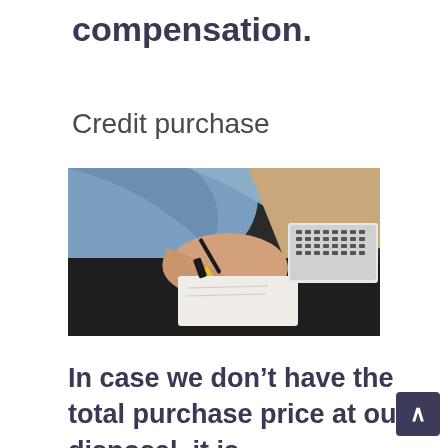compensation.
Credit purchase
[Figure (photo): Person sitting at a dark desk writing on paper with a yellow pen, with a laptop keyboard visible in the background and wearing a blue shirt and black wristband.]
In case we don’t have the total purchase price at our disposal, it is